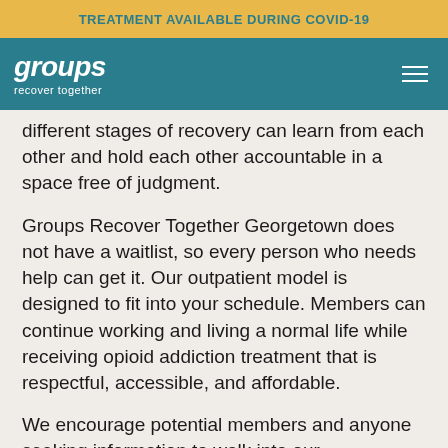TREATMENT AVAILABLE DURING COVID-19
[Figure (logo): Groups Recover Together logo with text 'recover together' on teal navigation bar with hamburger menu icon]
different stages of recovery can learn from each other and hold each other accountable in a space free of judgment.
Groups Recover Together Georgetown does not have a waitlist, so every person who needs help can get it. Our outpatient model is designed to fit into your schedule. Members can continue working and living a normal life while receiving opioid addiction treatment that is respectful, accessible, and affordable.
We encourage potential members and anyone seeking information to walk into our Georgetown